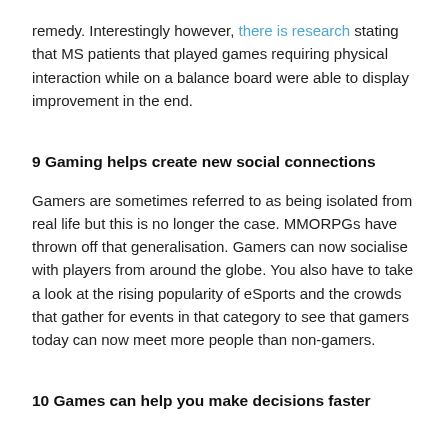remedy. Interestingly however, there is research stating that MS patients that played games requiring physical interaction while on a balance board were able to display improvement in the end.
9 Gaming helps create new social connections
Gamers are sometimes referred to as being isolated from real life but this is no longer the case. MMORPGs have thrown off that generalisation. Gamers can now socialise with players from around the globe. You also have to take a look at the rising popularity of eSports and the crowds that gather for events in that category to see that gamers today can now meet more people than non-gamers.
10 Games can help you make decisions faster
You must have seen someone that somehow seems to think faster than normal people. They are able to retrieve